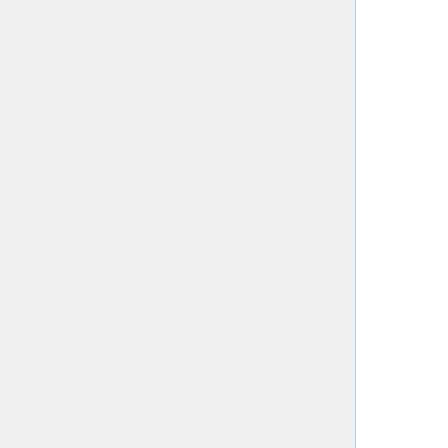| Date | Speaker | Title |
| --- | --- | --- |
| Nov 15 | Xiping Zhang (Tongji University, Shanghai) | On Milnor Classes of Determinantal Hypersurfaces |
| Nov 22 | Asvin Gothandaraman (UW-Madison) | On topological invariants of the space of irreducible polynomials in many variables |
| Nov 29 | Moisés Herradón Cueto (LSU) | Rigidity of difference equations |
|  |  | Equivariant log-concavity hyperplane |